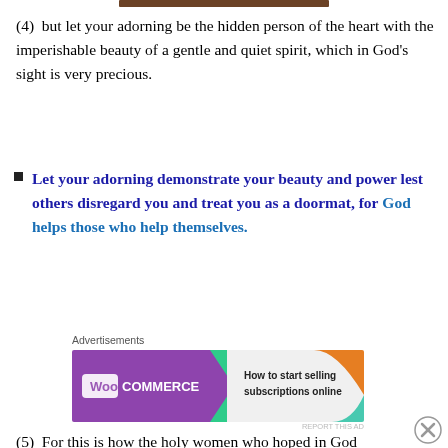[Figure (photo): Top image strip - brown/dark colored banner image at top]
(4)  but let your adorning be the hidden person of the heart with the imperishable beauty of a gentle and quiet spirit, which in God's sight is very precious.
Let your adorning demonstrate your beauty and power lest others disregard you and treat you as a doormat, for God helps those who help themselves.
[Figure (screenshot): WooCommerce advertisement: 'How to start selling subscriptions online']
(5)  For this is how the holy women who hoped in God
[Figure (screenshot): ULTA beauty advertisement with SHOP NOW call to action]